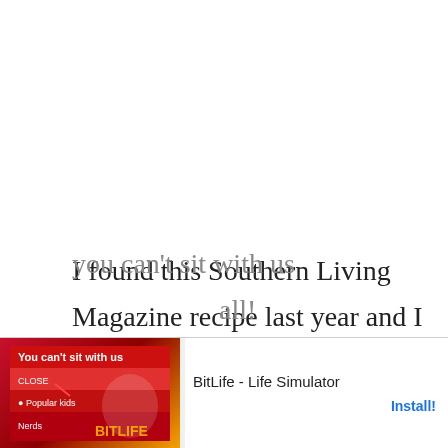I found this Southern Living Magazine recipe last year and I fell in love!  I love pumpkin, I love molasses and I love caramel glazes, so put them all together and you can't sit with us... all! And...
[Figure (other): Mobile app advertisement banner for BitLife - Life Simulator with red and orange graphic on left, app name and Install button on right, with Ad label in top left corner]